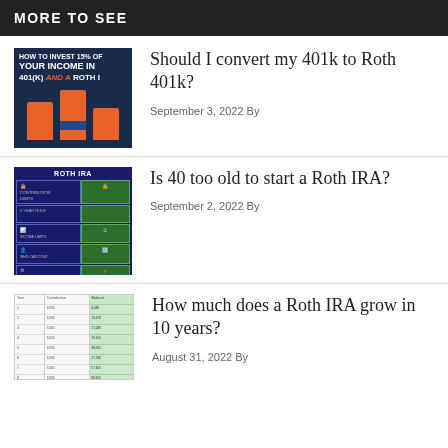MORE TO SEE
[Figure (infographic): Infographic showing how to invest 15% of income in 401k and Roth IRA with bar chart illustration]
Should I convert my 401k to Roth 401k?
September 3, 2022 By
[Figure (table-as-image): Roth IRA comparison table with blue and green columns]
Is 40 too old to start a Roth IRA?
September 2, 2022 By
[Figure (table-as-image): Spreadsheet table showing Roth IRA growth data over 10 years]
How much does a Roth IRA grow in 10 years?
August 31, 2022 By